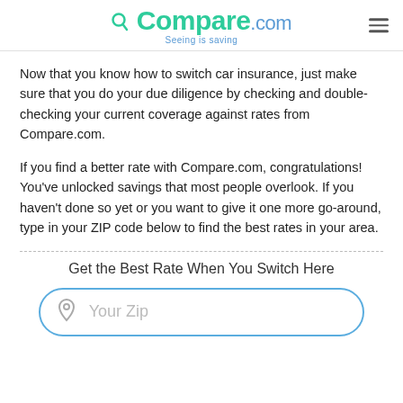Compare.com — Seeing is saving
Now that you know how to switch car insurance, just make sure that you do your due diligence by checking and double-checking your current coverage against rates from Compare.com.
If you find a better rate with Compare.com, congratulations! You've unlocked savings that most people overlook. If you haven't done so yet or you want to give it one more go-around, type in your ZIP code below to find the best rates in your area.
Get the Best Rate When You Switch Here
Your Zip